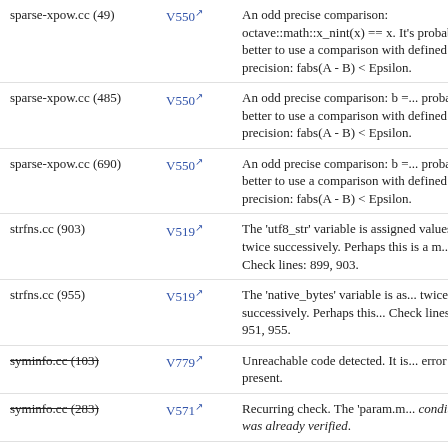| File | Code | Description |
| --- | --- | --- |
| sparse-xpow.cc (49) | V550 | An odd precise comparison: octave::math::x_nint(x) == x. It's probably better to use a comparison with defined precision: fabs(A - B) < Epsilon. |
| sparse-xpow.cc (485) | V550 | An odd precise comparison: b = ... probably better to use a comparison with defined precision: fabs(A - B) < Epsilon. |
| sparse-xpow.cc (690) | V550 | An odd precise comparison: b = ... probably better to use a comparison with defined precision: fabs(A - B) < Epsilon. |
| strfns.cc (903) | V519 | The 'utf8_str' variable is assigned values twice successively. Perhaps this is a mistake. Check lines: 899, 903. |
| strfns.cc (955) | V519 | The 'native_bytes' variable is assigned values twice successively. Perhaps this is a mistake. Check lines: 951, 955. |
| syminfo.cc (103) | V779 | Unreachable code detected. It is possible that error is present. |
| syminfo.cc (283) | V571 | Recurring check. The 'param.m...' condition was already verified. |
| syminfo.cc (538) | V614 | Potentially uninitialized variable used. |
| syminfo.cc (453) | V1026 | The 'idx' variable is incremented. Undefined behavior will occur in case of integer overflow. |